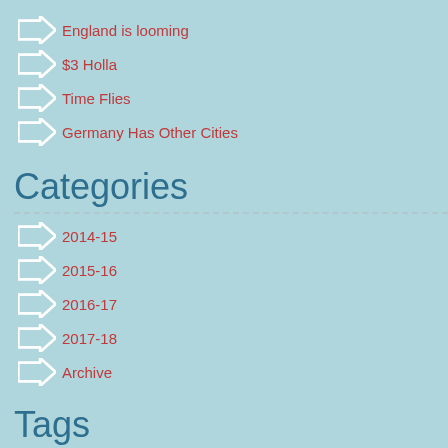England is looming
$3 Holla
Time Flies
Germany Has Other Cities
Categories
2014-15
2015-16
2016-17
2017-18
Archive
Tags